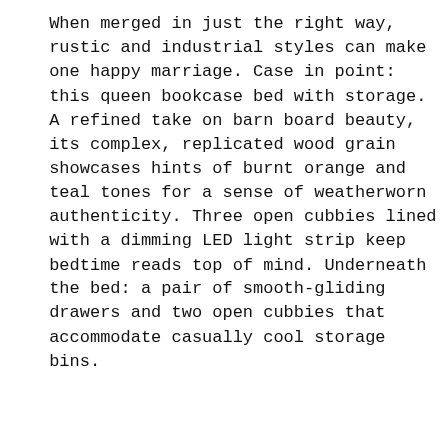When merged in just the right way, rustic and industrial styles can make one happy marriage. Case in point: this queen bookcase bed with storage. A refined take on barn board beauty, its complex, replicated wood grain showcases hints of burnt orange and teal tones for a sense of weatherworn authenticity. Three open cubbies lined with a dimming LED light strip keep bedtime reads top of mind. Underneath the bed: a pair of smooth-gliding drawers and two open cubbies that accommodate casually cool storage bins.
[Figure (other): Scroll-to-top button (light gray rounded rectangle with upward chevron arrow icon)]
FEATURES
[Figure (other): Green circular chat/message button with speech bubble icon]
Includes bookcase headboard, footboard, underbed storage unit, platform rails and wood roll slats